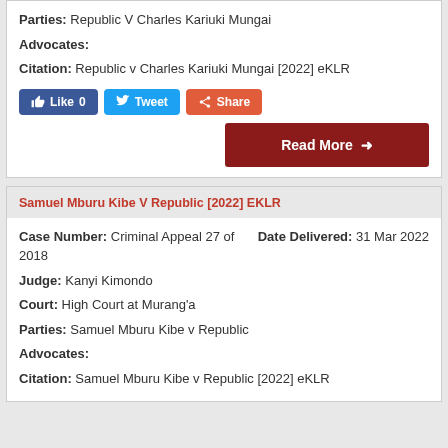Parties: Republic V Charles Kariuki Mungai
Advocates:
Citation: Republic v Charles Kariuki Mungai [2022] eKLR
[Figure (other): Social sharing buttons: Like 0 (Facebook), Tweet (Twitter), Share (Google+), and Read More button]
Samuel Mburu Kibe V Republic [2022] EKLR
Case Number: Criminal Appeal 27 of 2018
Date Delivered: 31 Mar 2022
Judge: Kanyi Kimondo
Court: High Court at Murang'a
Parties: Samuel Mburu Kibe v Republic
Advocates:
Citation: Samuel Mburu Kibe v Republic [2022] eKLR